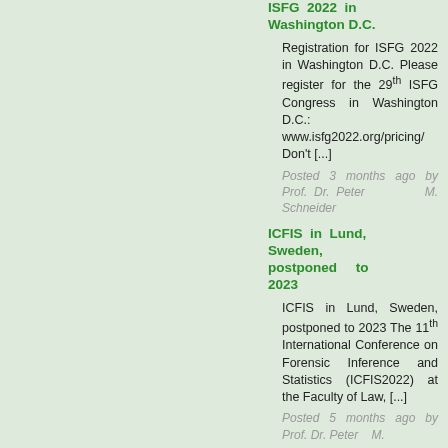ISFG 2022 in Washington D.C.
Registration for ISFG 2022 in Washington D.C. Please register for the 29th ISFG Congress in Washington D.C.: www.isfg2022.org/pricing/ Don't [...]
Posted 3 months ago by Prof. Dr. Peter M. Schneider
ICFIS in Lund, Sweden, postponed to 2023
ICFIS in Lund, Sweden, postponed to 2023 The 11th International Conference on Forensic Inference and Statistics (ICFIS2022) at the Faculty of Law, [...]
Posted 5 months ago by Prof. Dr. Peter M.